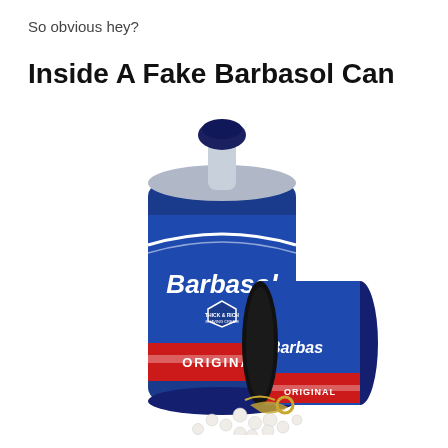So obvious hey?
Inside A Fake Barbasol Can
[Figure (photo): A Barbasol shaving cream can (blue, with 'Barbasol THICK & RICH SHAVING CREAM ORIGINAL' labeling) standing upright next to its hollow fake bottom section laid on its side, with pearls and jewelry spilling out from the hidden compartment inside the fake can.]